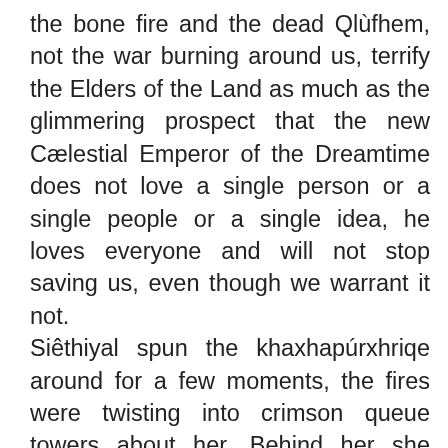the bone fire and the dead Qlùfhem, not the war burning around us, terrify the Elders of the Land as much as the glimmering prospect that the new Cælestial Emperor of the Dreamtime does not love a single person or a single people or a single idea, he loves everyone and will not stop saving us, even though we warrant it not. Siêthiyal spun the khaxhapúrxhriqe around for a few moments, the fires were twisting into crimson queue towers about her. Behind her she could hear Akhlísa's screaming – Sister! Come back! Sister! I love you! – The sword was ringing in Siêthiyal's ears, its music was part of the gathering rage. Siêthiyal did not realize it but she had been crying as she came into the fires, the tears that she could not admit